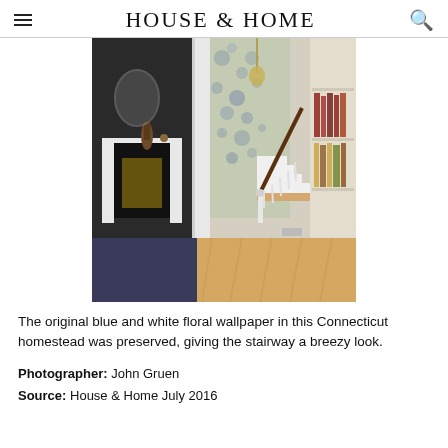HOUSE & HOME
[Figure (photo): Interior of a Connecticut homestead showing a hallway with a white staircase, blue and white floral wallpaper, hardwood floors, a fireplace on the left, and bookshelves on the right.]
The original blue and white floral wallpaper in this Connecticut homestead was preserved, giving the stairway a breezy look.
Photographer: John Gruen
Source: House & Home July 2016